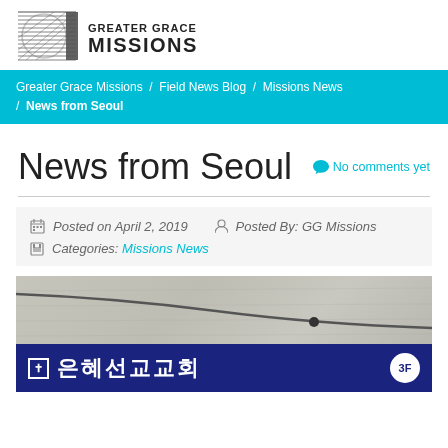[Figure (logo): Greater Grace Missions logo with globe/lines graphic and text]
Greater Grace Missions / Field News Blog / Missions News / News from Seoul
News from Seoul
No comments yet
Posted on April 2, 2019   Posted By: GG Missions   Categories: Missions News
[Figure (photo): Photo of a Korean church sign board reading '은혜선교교회' (Grace Mission Church) 3F with a cross symbol, mounted on a gray textured wall with cables]